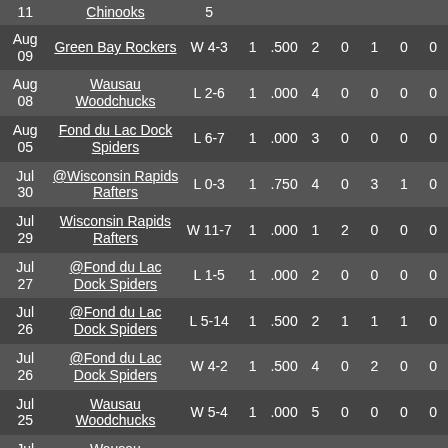| Date | Opponent | Result | GS | ERA | IP | H | R | ER | BB |
| --- | --- | --- | --- | --- | --- | --- | --- | --- | --- |
| 11 | Chinooks | 5 |  |  |  |  |  |  |  |
| Aug 09 | Green Bay Rockers | W 4-3 | 1 | .500 | 2 | 0 | 1 | 0 | 0 |
| Aug 08 | Wausau Woodchucks | L 2-6 | 1 | .000 | 4 | 0 | 0 | 0 | 0 |
| Aug 05 | Fond du Lac Dock Spiders | L 6-7 | 1 | .000 | 3 | 0 | 0 | 0 | 0 |
| Jul 30 | @Wisconsin Rapids Rafters | L 0-3 | 1 | .750 | 4 | 0 | 3 | 1 | 0 |
| Jul 29 | Wisconsin Rapids Rafters | W 11-7 | 1 | .000 | 1 | 2 | 0 | 0 | 0 |
| Jul 27 | @Fond du Lac Dock Spiders | L 1-5 | 1 | .000 | 2 | 0 | 0 | 0 | 0 |
| Jul 26 | @Fond du Lac Dock Spiders | L 5-14 | 1 | .500 | 2 | 1 | 1 | 1 | 0 |
| Jul 26 | @Fond du Lac Dock Spiders | W 4-2 | 1 | .500 | 4 | 0 | 2 | 0 | 0 |
| Jul 25 | Wausau Woodchucks | W 5-4 | 1 | .000 | 5 | 0 | 0 | 0 | 0 |
| Jul 24 | Wausau Woodchucks | L 10-12 | 1 | .250 | 4 | 0 | 1 | 0 | 0 |